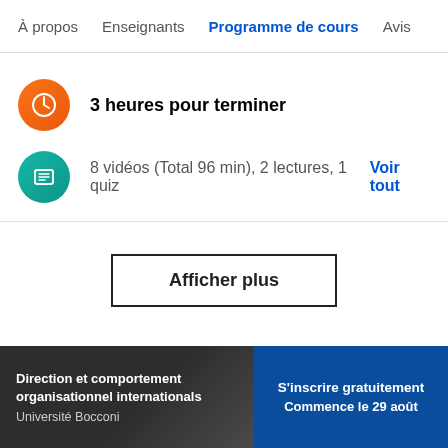À propos  Enseignants  Programme de cours  Avis  Op
3 heures pour terminer
8 vidéos (Total 96 min), 2 lectures, 1 quiz  Voir tout
Afficher plus
Direction et comportement organisationnel internationals
Université Bocconi
S'inscrire gratuitement
Commence le 29 août